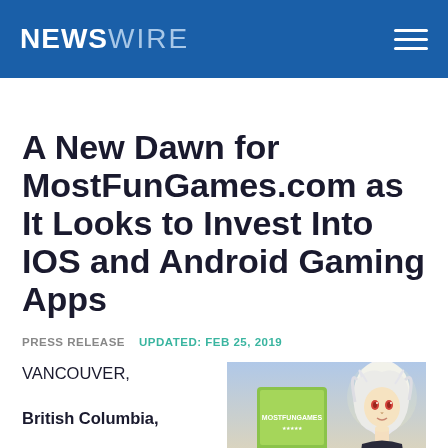NEWSWIRE
A New Dawn for MostFunGames.com as It Looks to Invest Into IOS and Android Gaming Apps
PRESS RELEASE   UPDATED: FEB 25, 2019
VANCOUVER, British Columbia,
[Figure (illustration): Anime-style illustration of a character with white hair and a game/book cover visible, partially cropped at bottom right of page]